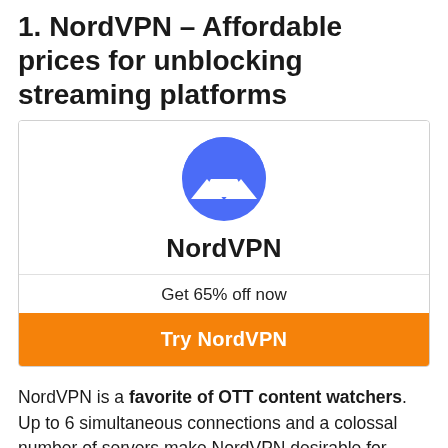1. NordVPN – Affordable prices for unblocking streaming platforms
[Figure (logo): NordVPN logo with blue shield/mountain icon and brand name 'NordVPN' below it, inside a bordered card with 'Get 65% off now' text and an orange 'Try NordVPN' button]
NordVPN is a favorite of OTT content watchers. Up to 6 simultaneous connections and a colossal number of servers make NordVPN desirable for content watchers as they